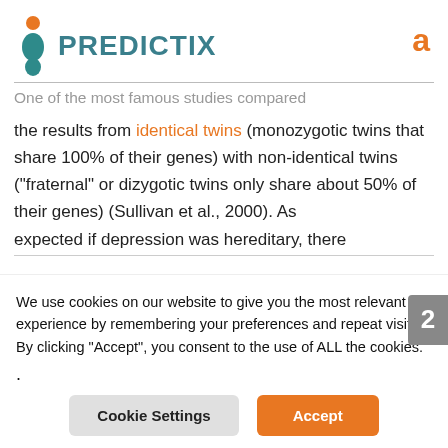[Figure (logo): Predictix logo with teal figure icon and orange dot, company name PREDICTIX in teal bold letters]
One of the most famous studies compared the results from identical twins (monozygotic twins that share 100% of their genes) with non-identical twins ("fraternal" or dizygotic twins only share about 50% of their genes) (Sullivan et al., 2000). As expected if depression was hereditary, there
We use cookies on our website to give you the most relevant experience by remembering your preferences and repeat visits. By clicking "Accept", you consent to the use of ALL the cookies.
.